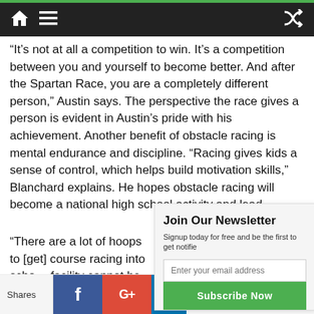Navigation bar with home, menu, and shuffle icons
“It’s not at all a competition to win. It’s a competition between you and yourself to become better. And after the Spartan Race, you are a completely different person,” Austin says. The perspective the race gives a person is evident in Austin’s pride with his achievement. Another benefit of obstacle racing is mental endurance and discipline. “Racing gives kids a sense of control, which helps build motivation skills,” Blanchard explains. He hopes obstacle racing will become a national high school activity and lead
“There are a lot of hoops to [get] course racing into school... facility cannot be built o
[Figure (other): Newsletter signup popup overlay with title 'Join Our Newsletter', subtitle 'Signup today for free and be the first to get notifie', email input field, and Subscribe Now button]
Shares | Facebook share | Google+ share | LinkedIn share